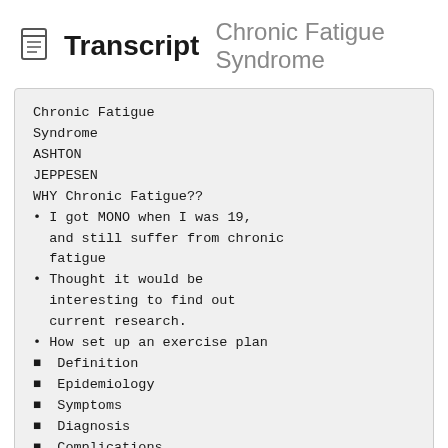Transcript  Chronic Fatigue Syndrome
Chronic Fatigue
Syndrome
ASHTON
JEPPESEN
WHY Chronic Fatigue??
I got MONO when I was 19, and still suffer from chronic fatigue
Thought it would be interesting to find out current research.
How set up an exercise plan
Definition
Epidemiology
Symptoms
Diagnosis
Complications